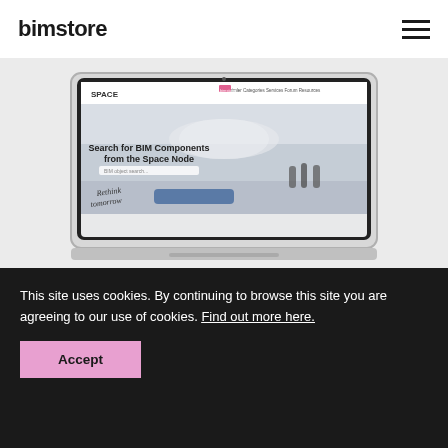bimstore
[Figure (screenshot): A laptop screen showing a website called SPACE with the text 'Search for BIM Components from the Space Node' and 'Rethink tomorrow' over an interior building photo]
This site uses cookies. By continuing to browse this site you are agreeing to our use of cookies. Find out more here.
Accept